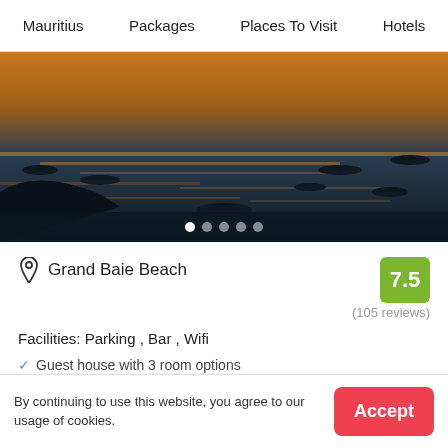Mauritius   Packages   Places To Visit   Hotels
[Figure (photo): Hero image of boats silhouetted on a golden-hued ocean at sunset, with multiple small boats visible on the water. Five dot indicators at the bottom show image carousel position.]
Grand Baie Beach
7.5
(105 reviews)
Facilities: Parking , Bar , Wifi
Guest house with 3 room options
$53 onwards
Booking.com
View Deal >
By continuing to use this website, you agree to our usage of cookies.
Accept